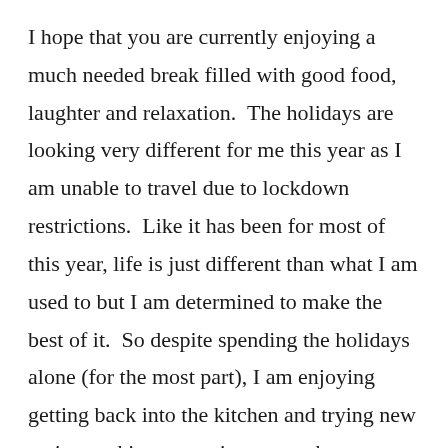I hope that you are currently enjoying a much needed break filled with good food, laughter and relaxation.  The holidays are looking very different for me this year as I am unable to travel due to lockdown restrictions.  Like it has been for most of this year, life is just different than what I am used to but I am determined to make the best of it.  So despite spending the holidays alone (for the most part), I am enjoying getting back into the kitchen and trying new recipes, taking some time to work out everyday, watching some great shows (has anyone seen